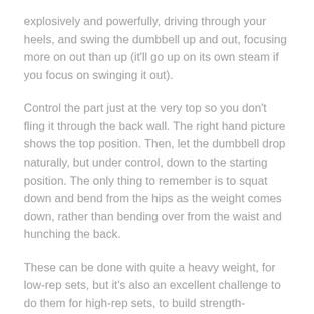explosively and powerfully, driving through your heels, and swing the dumbbell up and out, focusing more on out than up (it'll go up on its own steam if you focus on swinging it out).
Control the part just at the very top so you don't fling it through the back wall. The right hand picture shows the top position. Then, let the dumbbell drop naturally, but under control, down to the starting position. The only thing to remember is to squat down and bend from the hips as the weight comes down, rather than bending over from the waist and hunching the back.
These can be done with quite a heavy weight, for low-rep sets, but it's also an excellent challenge to do them for high-rep sets, to build strength-endurance